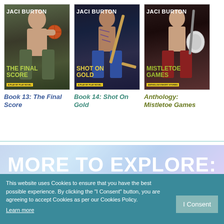[Figure (illustration): Book cover: Jaci Burton - The Final Score (Book 13), shirtless man holding basketball, dark green/brown tones]
Book 13: The Final Score
[Figure (illustration): Book cover: Jaci Burton - Shot On Gold (Book 14), tattooed shirtless man with hockey stick, dark blue tones]
Book 14: Shot On Gold
[Figure (illustration): Book cover: Jaci Burton - Mistletoe Games (Anthology), shirtless man with hockey gear, dark red tones]
Anthology: Mistletoe Games
MORE TO EXPLORE:
read an excerpt  ordering options  ...ext
This website uses Cookies to ensure that you have the best possible experience. By clicking the "I Consent" button, you are agreeing to accept Cookies as per our Cookies Policy. Learn more